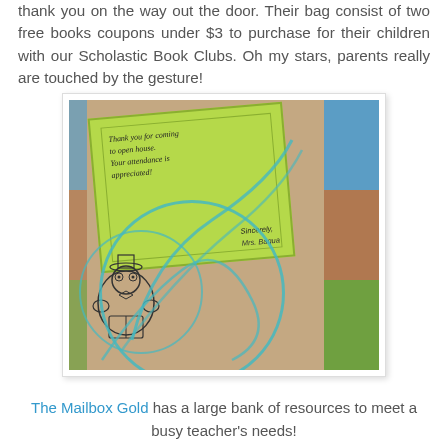thank you on the way out the door.  Their bag consist of two free books coupons under $3 to purchase for their children with our Scholastic Book Clubs.  Oh my stars, parents really are touched by the gesture!
[Figure (photo): Photo of a green thank-you card with text 'Thank you for coming to open house. Your attendance is appreciated! Sincerely, Mrs. Baqua' placed on a striped brown and blue book/folder, tied with a teal/aqua ribbon loop.]
The Mailbox Gold has a large bank of resources to meet a busy teacher's needs!